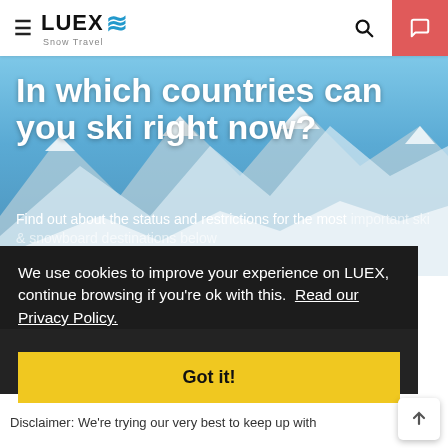LUEX Snow Travel
In which countries can you ski right now?
Find out about the status and restrictions for the most important ski & snowboard destinations below
We use cookies to improve your experience on LUEX, continue browsing if you're ok with this. Read our Privacy Policy.
Got it!
Disclaimer
Disclaimer: We're trying our very best to keep up with